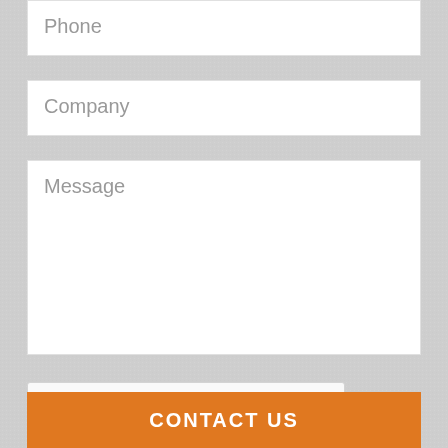Phone
Company
Message
[Figure (other): reCAPTCHA widget with checkbox labeled 'I'm not a robot' and reCAPTCHA logo with Privacy and Terms links]
CONTACT US